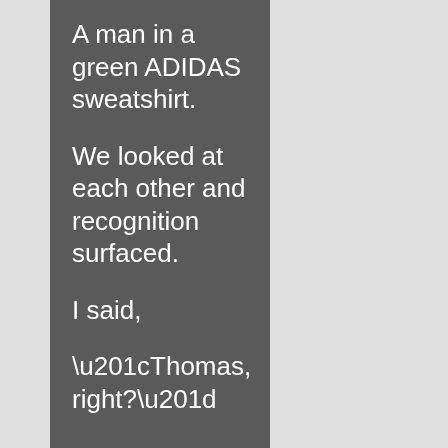A man in a green ADIDAS sweatshirt.
We looked at each other and recognition surfaced.
I said,
“Thomas, right?”